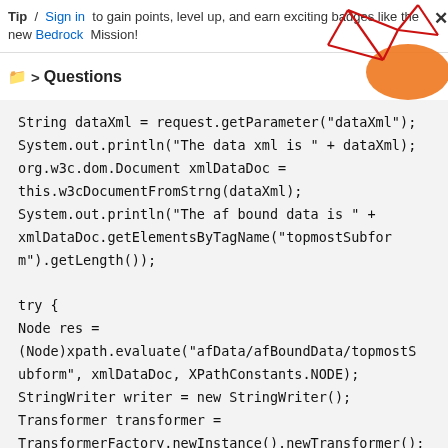Tip / Sign in to gain points, level up, and earn exciting badges like the new Bedrock Mission!
Questions
[Figure (illustration): Decorative graphic in top-right corner: red geometric lines forming a polygon shape with an orange ellipse/blob]
String dataXml = request.getParameter("dataXml"); System.out.println("The data xml is " + dataXml); org.w3c.dom.Document xmlDataDoc = this.w3cDocumentFromStrng(dataXml); System.out.println("The af bound data is " + xmlDataDoc.getElementsByTagName("topmostSubform").getLength());

try {
Node res = (Node)xpath.evaluate("afData/afBoundData/topmostSubform", xmlDataDoc, XPathConstants.NODE);
StringWriter writer = new StringWriter();
Transformer transformer = TransformerFactory.newInstance().newTransformer();
transformer.transform(new DOMSource(res), new StreamResult(writer));
String xml = writer.toString();